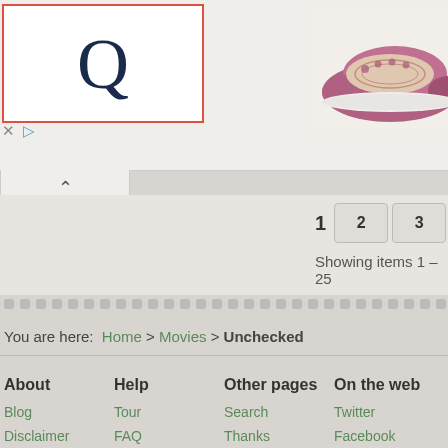[Figure (logo): Q logo in dark navy with red border square, advertisement]
[Figure (photo): Purple/mauve slip-on shoes/moccasins on white background]
1  2  3  16  188  2522  34...
Showing items 1 – 25
You are here: Home > Movies > Unchecked
About
Blog
Disclaimer
Terms of use
Press
Help
Tour
FAQ
Forum
Contact
Other pages
Search
Thanks
Testimonials
On the web
Twitter
Facebook
YouTube
Uservoice
Trello